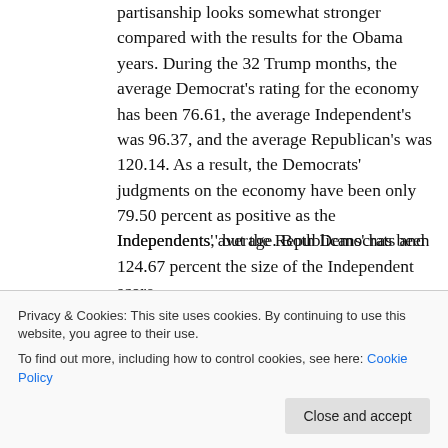partisanship looks somewhat stronger compared with the results for the Obama years. During the 32 Trump months, the average Democrat's rating for the economy has been 76.61, the average Independent's was 96.37, and the average Republican's was 120.14. As a result, the Democrats' judgments on the economy have been only 79.50 percent as positive as the Independents,' but the Republicans' has been 124.67 percent the size of the Independent score.
Put differently, during the Obama years, the Republicans' judgments about the economy
Independents' average. Both Democrats and
Privacy & Cookies: This site uses cookies. By continuing to use this website, you agree to their use.
To find out more, including how to control cookies, see here: Cookie Policy